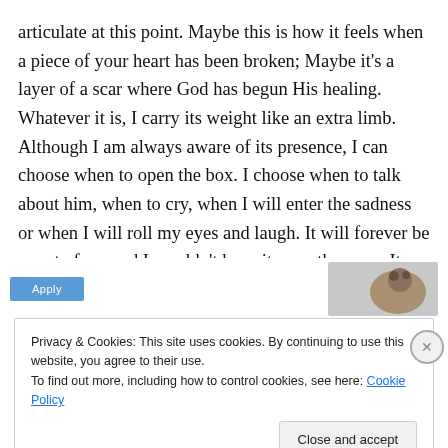articulate at this point. Maybe this is how it feels when a piece of your heart has been broken; Maybe it's a layer of a scar where God has begun His healing. Whatever it is, I carry its weight like an extra limb. Although I am always aware of its presence, I can choose when to open the box. I choose when to talk about him, when to cry, when I will enter the sadness or when I will roll my eyes and laugh. It will forever be a part of me and I wouldn't have it any other way. It truly is a treasure.
[Figure (other): Apply button (blue) and partial dog photo on right side, part of an advertisement or website UI element]
Privacy & Cookies: This site uses cookies. By continuing to use this website, you agree to their use.
To find out more, including how to control cookies, see here: Cookie Policy
Close and accept